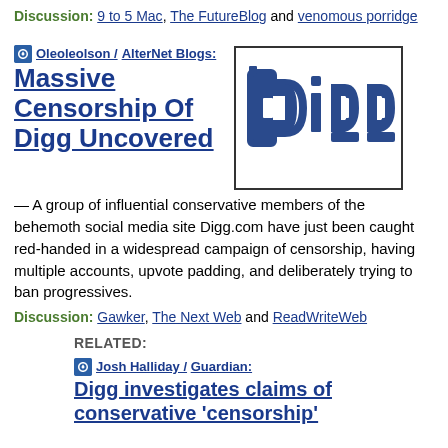Discussion: 9 to 5 Mac, The FutureBlog and venomous porridge
Oleoleolson / AlterNet Blogs:
Massive Censorship Of Digg Uncovered
[Figure (logo): Digg logo — stylized 3D block letters spelling 'digg' with a shovel/spade icon, blue outlined block letters on white background, inside a black bordered box]
— A group of influential conservative members of the behemoth social media site Digg.com have just been caught red-handed in a widespread campaign of censorship, having multiple accounts, upvote padding, and deliberately trying to ban progressives.
Discussion: Gawker, The Next Web and ReadWriteWeb
RELATED:
Josh Halliday / Guardian:
Digg investigates claims of conservative 'censorship'